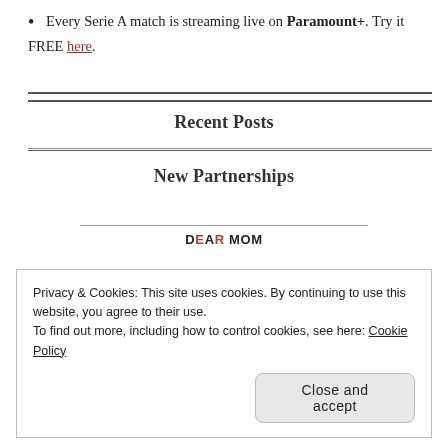Every Serie A match is streaming live on Paramount+. Try it FREE here.
Recent Posts
New Partnerships
[Figure (logo): DEAR MOM logo text with red highlighting on some letters, below a horizontal rule]
Privacy & Cookies: This site uses cookies. By continuing to use this website, you agree to their use. To find out more, including how to control cookies, see here: Cookie Policy. Close and accept.